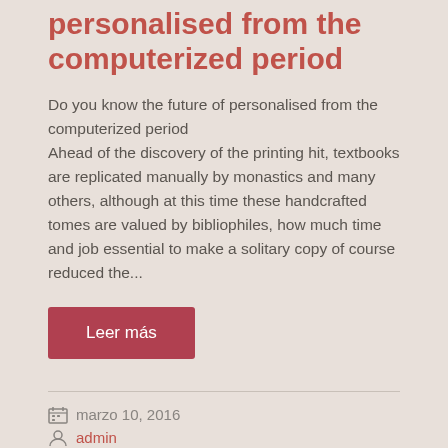personalised from the computerized period
Do you know the future of personalised from the computerized period
Ahead of the discovery of the printing hit, textbooks are replicated manually by monastics and many others, although at this time these handcrafted tomes are valued by bibliophiles, how much time and job essential to make a solitary copy of course reduced the...
Leer más
marzo 10, 2016
admin
No hay comentarios
Uncategorized
Permalink